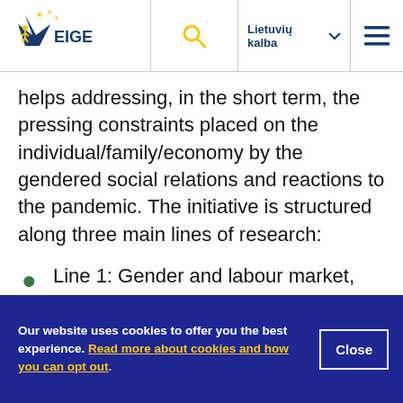[Figure (logo): EIGE (European Institute for Gender Equality) logo with blue star and yellow stars]
helps addressing, in the short term, the pressing constraints placed on the individual/family/economy by the gendered social relations and reactions to the pandemic. The initiative is structured along three main lines of research:
Line 1: Gender and labour market, during and in the aftermath of the COVID-19 pandemic, addressing subjects like
Our website uses cookies to offer you the best experience. Read more about cookies and how you can opt out.